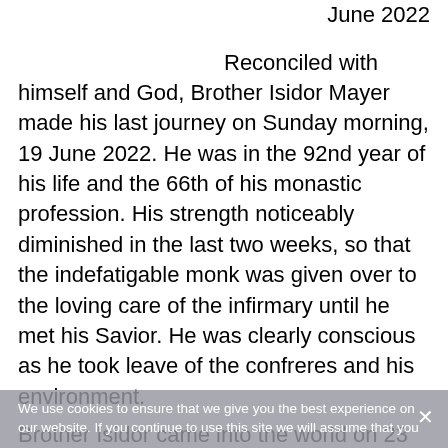June 2022
Reconciled with himself and God, Brother Isidor Mayer made his last journey on Sunday morning, 19 June 2022. He was in the 92nd year of his life and the 66th of his monastic profession. His strength noticeably diminished in the last two weeks, so that the indefatigable monk was given over to the loving care of the infirmary until he met his Savior. He was clearly conscious as he took leave of the confreres and his environment.
Brother Isidor came into the world on 23 March 1931 in the Lower Bavarian hamlet of Umbertshausen, Kelheim District, Diocese of
We use cookies to ensure that we give you the best experience on our website. If you continue to use this site we will assume that you